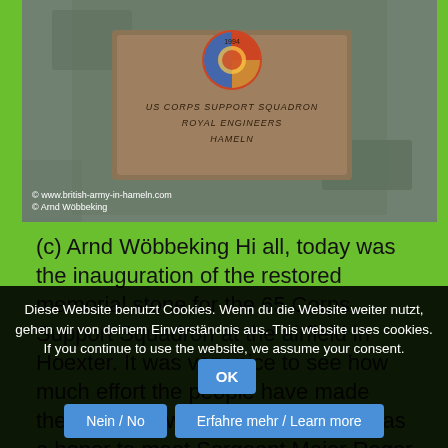[Figure (photo): Photo of a memorial stone plaque for the 65 Corps Support Squadron, with a military insignia emblem at the top. The stone is dark gray/black granite. Text on plaque reads: US Corps Support Squadron, Royal Engineers, Hameln. Copyright watermarks visible.]
© www.british-army-in-hameln.com
© Arnd Wöbbeking
(c) Arnd Wöbbeking Hi all, today was the inauguration of the restored memorial stone for the 65 Corps Support Squadron at the airfield in Hoexter. It was very nice to see how much effort the people have made there to be a worthy anniversary! Was a honor to meet Sergeant Major Roger Thorrington, the leader of ...
Diese Website benutzt Cookies. Wenn du die Website weiter nutzt, gehen wir von deinem Einverständnis aus. This website uses cookies. If you continue to use the website, we assume your consent.